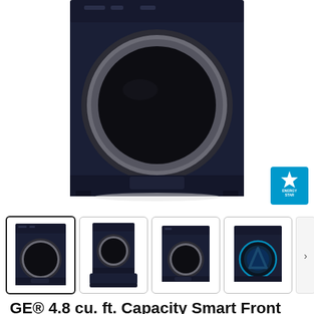[Figure (photo): Front view of a dark navy blue GE front-load washer with a large circular door and silver trim ring, photographed from slightly above. An ENERGY STAR badge appears in the bottom-right corner of the image area.]
[Figure (photo): Four thumbnail images of the washer: (1) front view with control panel visible, (2) front view with pedestal, (3) front view without pedestal, (4) interior drum view with blue lighting. A right-arrow navigation button appears to the right of the thumbnails.]
GE® 4.8 cu. ft. Capacity Smart Front Load ENERGY STAR® Washer with